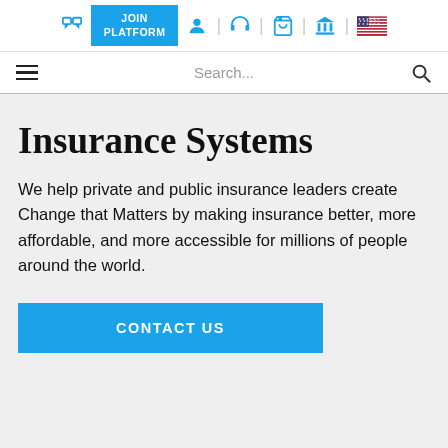JOIN PLATFORM navigation bar with icons: chat, user, headset, cart, bank, US flag
Search...
Insurance Systems
We help private and public insurance leaders create Change that Matters by making insurance better, more affordable, and more accessible for millions of people around the world.
CONTACT US